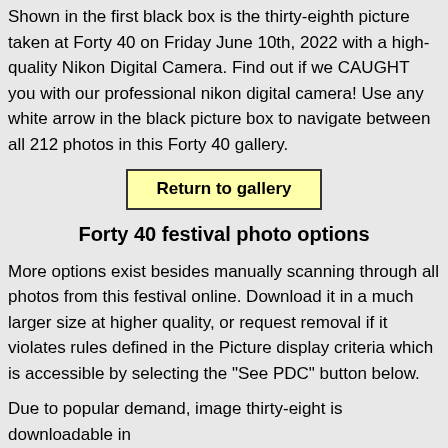Shown in the first black box is the thirty-eighth picture taken at Forty 40 on Friday June 10th, 2022 with a high-quality Nikon Digital Camera. Find out if we CAUGHT you with our professional nikon digital camera! Use any white arrow in the black picture box to navigate between all 212 photos in this Forty 40 gallery.
Return to gallery
Forty 40 festival photo options
More options exist besides manually scanning through all photos from this festival online. Download it in a much larger size at higher quality, or request removal if it violates rules defined in the Picture display criteria which is accessible by selecting the "See PDC" button below.
Due to popular demand, image thirty-eight is downloadable in